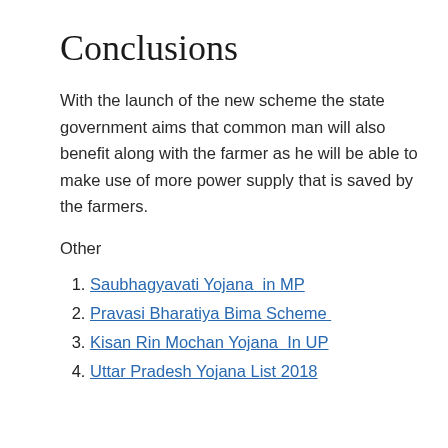Conclusions
With the launch of the new scheme the state government aims that common man will also benefit along with the farmer as he will be able to make use of more power supply that is saved by the farmers.
Other
Saubhagyavati Yojana  in MP
Pravasi Bharatiya Bima Scheme
Kisan Rin Mochan Yojana  In UP
Uttar Pradesh Yojana List 2018